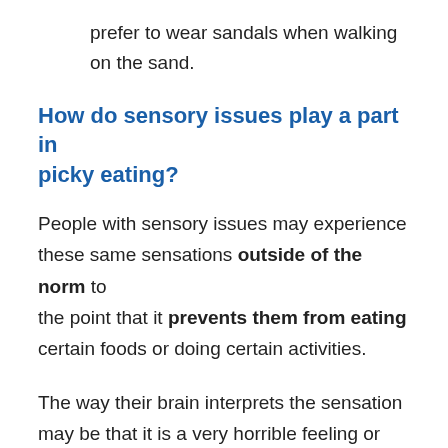prefer to wear sandals when walking on the sand.
How do sensory issues play a part in picky eating?
People with sensory issues may experience these same sensations outside of the norm to the point that it prevents them from eating certain foods or doing certain activities.
The way their brain interprets the sensation may be that it is a very horrible feeling or that it's something they have to have more of.